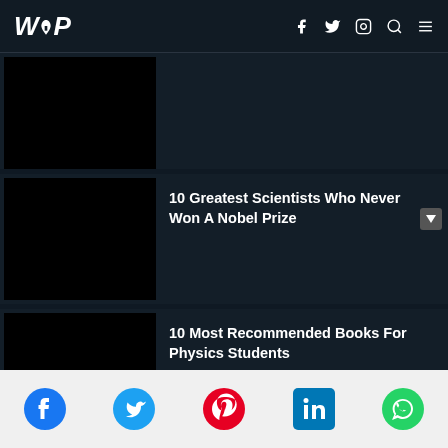WOP
[Figure (photo): Partially visible article thumbnail image (black)]
[Figure (photo): Article thumbnail image (black)]
10 Greatest Scientists Who Never Won A Nobel Prize
[Figure (photo): Article thumbnail image (black)]
10 Most Recommended Books For Physics Students
[Figure (infographic): Social media share icons: Facebook, Twitter, Pinterest, LinkedIn, WhatsApp]